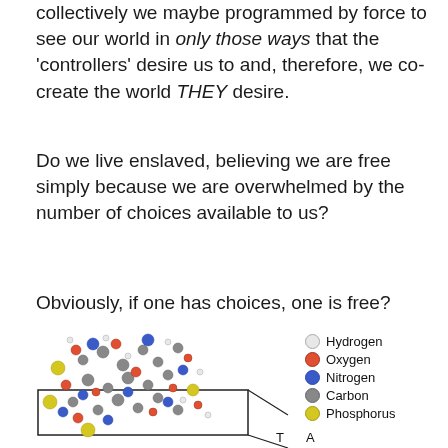collectively we maybe programmed by force to see our world in only those ways that the 'controllers' desire us to and, therefore, we co-create the world THEY desire.
Do we live enslaved, believing we are free simply because we are overwhelmed by the number of choices available to us?
Obviously, if one has choices, one is free?
[Figure (illustration): 3D molecular structure diagram showing a DNA or molecular assembly with atoms color-coded: Hydrogen (white/light grey), Oxygen (red/orange), Nitrogen (blue), Carbon (grey), Phosphorus (yellow). A legend is shown to the right. Labels T and A are visible at the bottom of the diagram.]